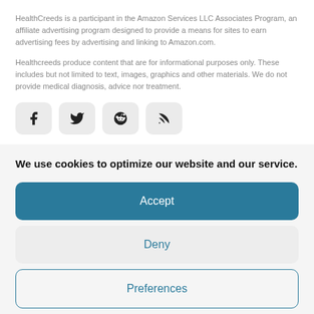HealthCreeds is a participant in the Amazon Services LLC Associates Program, an affiliate advertising program designed to provide a means for sites to earn advertising fees by advertising and linking to Amazon.com.
Healthcreeds produce content that are for informational purposes only. These includes but not limited to text, images, graphics and other materials. We do not provide medical diagnosis, advice nor treatment.
[Figure (illustration): Four social media icon buttons: Facebook, Twitter, Reddit, RSS feed]
We use cookies to optimize our website and our service.
Accept
Deny
Preferences
Cookie Policy   Privacy Policy of healthcreeds